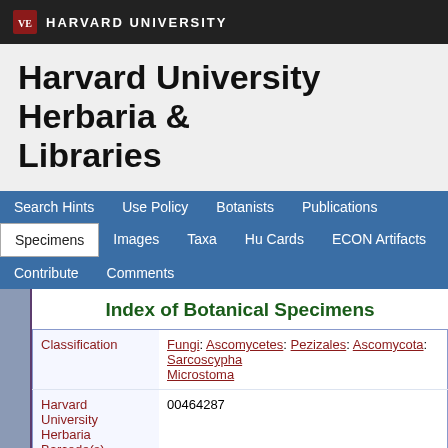HARVARD UNIVERSITY
Harvard University Herbaria & Libraries
Search Hints | Use Policy | Botanists | Publications | Specimens | Images | Taxa | Hu Cards | ECON Artifacts | Contribute | Comments
Index of Botanical Specimens
| Field | Value |
| --- | --- |
| Classification | Fungi: Ascomycetes: Pezizales: Ascomycota: Sarcoscypha Microstoma |
| Harvard University Herbaria Barcode(s) | 00464287 |
| Collector | B. M. Everhart |
| Collector number | s.n. |
| Country | United States of America |